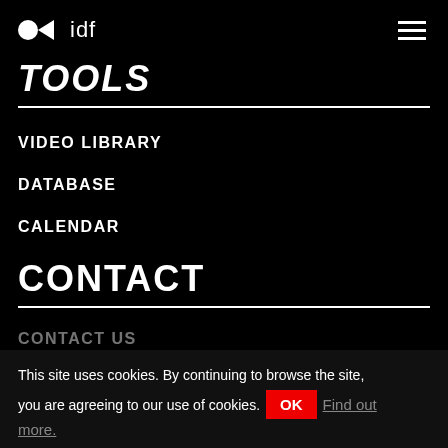idf
TOOLS
VIDEO LIBRARY
DATABASE
CALENDAR
CONTACT
CONTACT US
This site uses cookies. By continuing to browse the site, you are agreeing to our use of cookies. OK Find out more.